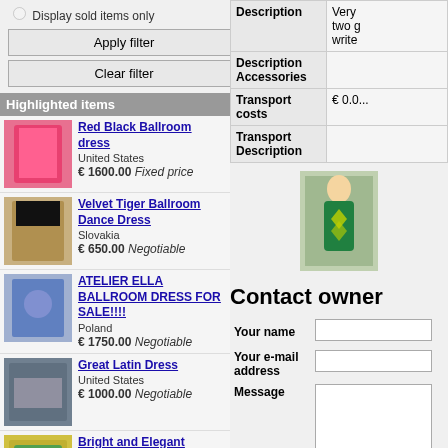Display sold items only
Apply filter
Clear filter
Highlighted items
Red Black Ballroom dress
United States
€ 1600.00 Fixed price
Velvet Tiger Ballroom Dance Dress
Slovakia
€ 650.00 Negotiable
ATELIER ELLA BALLROOM DRESS FOR SALE!!!!
Poland
€ 1750.00 Negotiable
Great Latin Dress
United States
€ 1000.00 Negotiable
Bright and Elegant dress!!
Russia
€ 700.00 Contact us
Black and Green Ballroom dress
Netherlands
€ 875.00 Contact us
VESA dress for sale!
Russia
€ 900.00 Fixed price
| Description |  |
| --- | --- |
| Description | Very... two g... write... |
| Description Accessories |  |
| Transport costs | € 0.0... |
| Transport Description |  |
[Figure (photo): Dance dress photo - woman in green costume]
Contact owner
| Your name |  |
| --- | --- |
| Your name |  |
| Your e-mail address |  |
| Message |  |
| Human code | Please fill in |
Other adverts of: Gandemb
2 it